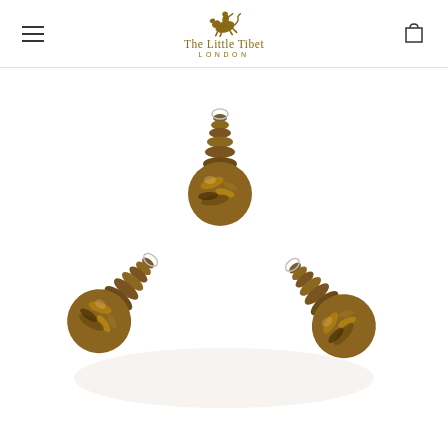The Little Tibet London — navigation header with logo and cart icon
[Figure (photo): Three tiger eye stone pendants with spiral carved tops arranged in a triangular formation on a white background. Each pendant features a round smooth sphere with tiger eye stone pattern (golden-brown striped) connected to a ridged/ribbed spiral carved top piece, with small silver wire loops.]